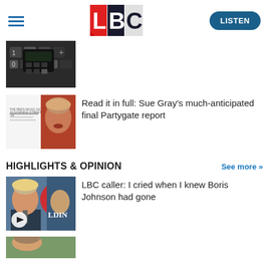LBC — LISTEN
[Figure (photo): Dark keyboard/calculator image thumbnail]
[Figure (photo): Sue Gray Partygate report — Boris Johnson and document image thumbnail]
Read it in full: Sue Gray's much-anticipated final Partygate report
HIGHLIGHTS & OPINION
See more >>
[Figure (photo): LBC caller video thumbnail — Boris Johnson and another person, with play button]
LBC caller: I cried when I knew Boris Johnson had gone
[Figure (photo): Partially visible thumbnail at bottom of page]